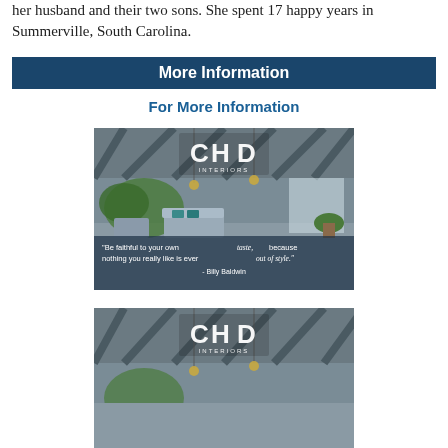her husband and their two sons. She spent 17 happy years in Summerville, South Carolina.
More Information
For More Information
[Figure (photo): CHD Interiors advertisement showing a covered porch with furniture and the quote: 'Be faithful to your own taste, because nothing you really like is ever out of style.' - Billy Baldwin]
[Figure (photo): CHD Interiors advertisement showing the same covered porch scene, cropped view of the upper portion]